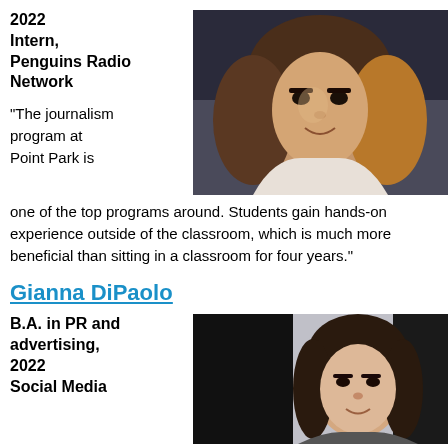2022
Intern,
Penguins Radio Network
[Figure (photo): Young woman with long hair, selfie-style photo, wearing a white sweater]
"The journalism program at Point Park is one of the top programs around. Students gain hands-on experience outside of the classroom, which is much more beneficial than sitting in a classroom for four years."
Gianna DiPaolo
B.A. in PR and advertising, 2022
Social Media
[Figure (photo): Young woman with dark hair, professional headshot style, light gray background]